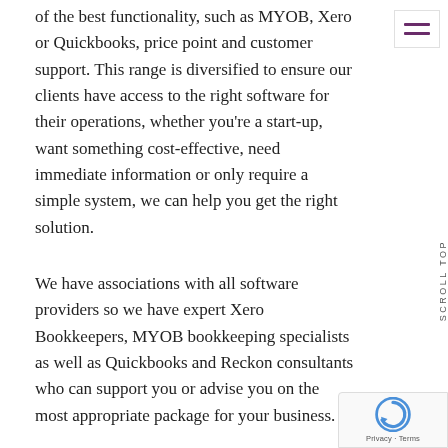of the best functionality, such as MYOB, Xero or Quickbooks, price point and customer support. This range is diversified to ensure our clients have access to the right software for their operations, whether you're a start-up, want something cost-effective, need immediate information or only require a simple system, we can help you get the right solution.
We have associations with all software providers so we have expert Xero Bookkeepers, MYOB bookkeeping specialists as well as Quickbooks and Reckon consultants who can support you or advise you on the most appropriate package for your business.
Working With The Best Bookkeeper Cranbourne Has To Offer
Keep in mind that our experienced team are not only bookkeepers – they're also qualified, experienced